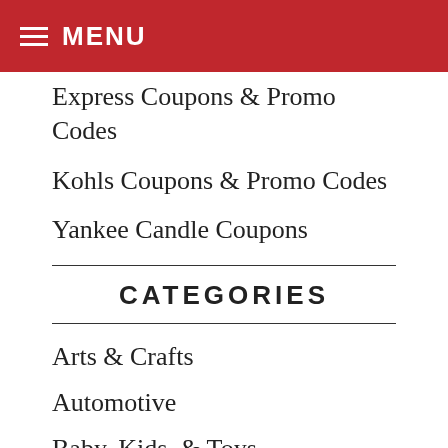MENU
Express Coupons & Promo Codes
Kohls Coupons & Promo Codes
Yankee Candle Coupons
CATEGORIES
Arts & Crafts
Automotive
Baby, Kids, & Toys
Beauty & Health
Black Friday
Books & Magazines
Car Rental
Clothing & Accessories